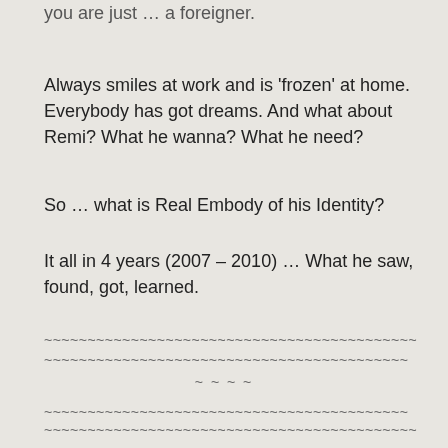you are just … a foreigner.
Always smiles at work and is 'frozen' at home. Everybody has got dreams. And what about Remi? What he wanna? What he need?
So … what is Real Embody of his Identity?
It all in 4 years (2007 – 2010) … What he saw, found, got, learned.
~ ~ ~ ~ ~ ~ ~ ~ ~ ~ ~ ~ ~ ~ ~ ~ ~ ~ ~ ~ ~ ~ ~ ~ ~ ~ ~ ~ ~ ~ ~ ~ ~ ~ ~ ~ ~ ~ ~ ~ ~
~ ~ ~ ~ ~ ~ ~ ~ ~ ~ ~ ~ ~ ~ ~ ~ ~ ~ ~ ~ ~ ~ ~ ~ ~ ~ ~ ~ ~ ~ ~ ~ ~ ~ ~ ~ ~ ~ ~ ~
~ ~ ~ ~
~ ~ ~ ~ ~ ~ ~ ~ ~ ~ ~ ~ ~ ~ ~ ~ ~ ~ ~ ~ ~ ~ ~ ~ ~ ~ ~ ~ ~ ~ ~ ~ ~ ~ ~ ~ ~ ~ ~ ~
~ ~ ~ ~ ~ ~ ~ ~ ~ ~ ~ ~ ~ ~ ~ ~ ~ ~ ~ ~ ~ ~ ~ ~ ~ ~ ~ ~ ~ ~ ~ ~ ~ ~ ~ ~ ~ ~ ~ ~ ~
~ ~ ~ ~